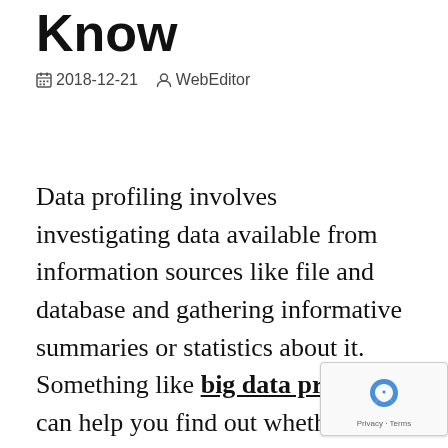Know
2018-12-21   WebEditor
Data profiling involves investigating data available from information sources like file and database and gathering informative summaries or statistics about it. Something like big data profiling can help you find out whether the already present data can be used for other uses. It also improves the capability to search information or